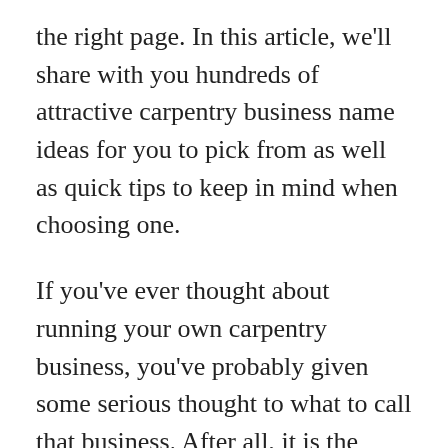the right page. In this article, we'll share with you hundreds of attractive carpentry business name ideas for you to pick from as well as quick tips to keep in mind when choosing one.
If you've ever thought about running your own carpentry business, you've probably given some serious thought to what to call that business. After all, it is the name that people will remember and the first impression people will have of you.
You want your business name to stand out